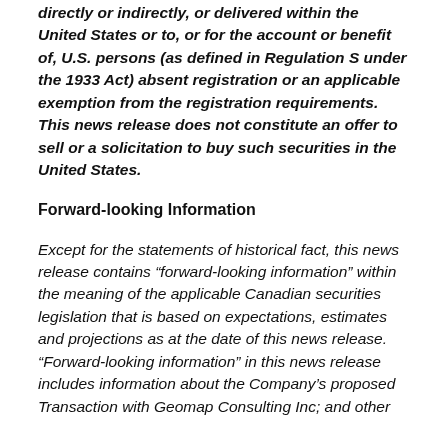directly or indirectly, or delivered within the United States or to, or for the account or benefit of, U.S. persons (as defined in Regulation S under the 1933 Act) absent registration or an applicable exemption from the registration requirements. This news release does not constitute an offer to sell or a solicitation to buy such securities in the United States.
Forward-looking Information
Except for the statements of historical fact, this news release contains “forward-looking information” within the meaning of the applicable Canadian securities legislation that is based on expectations, estimates and projections as at the date of this news release. “Forward-looking information” in this news release includes information about the Company’s proposed Transaction with Geomap Consulting Inc; and other forward-looking information about the business and operations.